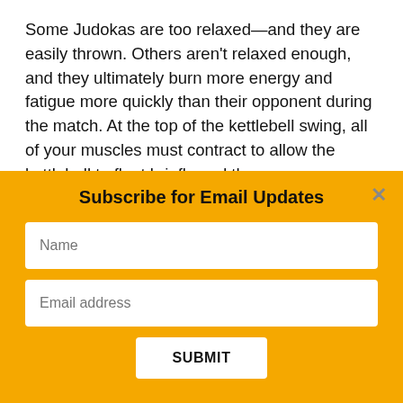Some Judokas are too relaxed—and they are easily thrown. Others aren't relaxed enough, and they ultimately burn more energy and fatigue more quickly than their opponent during the match. At the top of the kettlebell swing, all of your muscles must contract to allow the kettlebell to float briefly and then
Subscribe for Email Updates
Name
Email address
SUBMIT